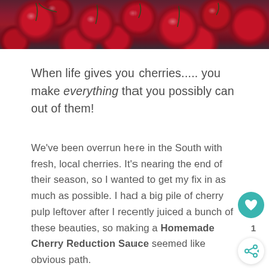[Figure (photo): Close-up photo of dark red cherries with stems on a dark background, showing the top portion of the page]
When life gives you cherries..... you make everything that you possibly can out of them!
We’ve been overrun here in the South with fresh, local cherries. It’s nearing the end of their season, so I wanted to get my fix in as much as possible. I had a big pile of cherry pulp leftover after I recently juiced a bunch of these beauties, so making a Homemade Cherry Reduction Sauce seemed like obvious path.